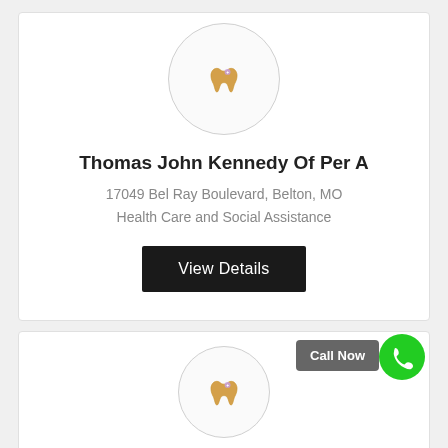[Figure (logo): Dental tooth icon inside a circular border, gold/tan colored tooth with sparkle]
Thomas John Kennedy Of Per A
17049 Bel Ray Boulevard, Belton, MO
Health Care and Social Assistance
View Details
[Figure (logo): Dental tooth icon inside a circular border, gold/tan colored tooth with sparkle, partially visible second listing]
Call Now